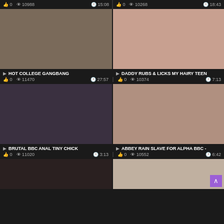[Figure (screenshot): Video thumbnail grid - adult video site listing]
HOT COLLEGE GANGBANG | 0 views 11470 | 27:57
DADDY RUBS & LICKS MY HAIRY TEEN | 0 views 10374 | 7:13
BRUTAL BBC ANAL TINY CHICK | 0 views 11020 | 3:13
ABBEY RAIN SLAVE FOR ALPHA BBC - | 0 views 10552 | 6:42